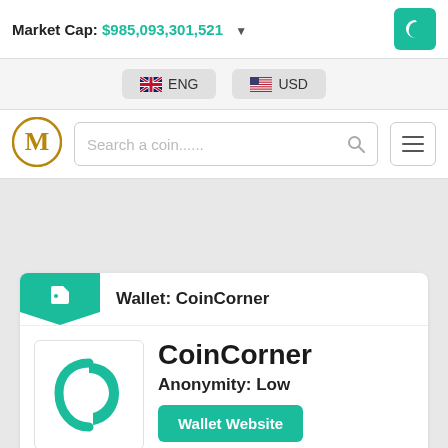Market Cap: $985,093,301,521
ENG
USD
[Figure (logo): Monero (M) logo circle]
Search a coin......
Wallet: CoinCorner
[Figure (logo): CoinCorner teal logo mark]
CoinCorner
Anonymity: Low
Wallet Website